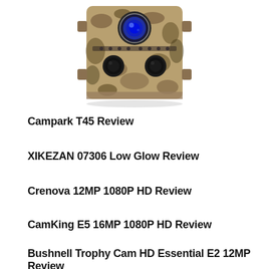[Figure (photo): Trail camera with camouflage pattern, featuring a circular blue lens at top, IR sensors, and mounting hardware]
Campark T45 Review
XIKEZAN 07306 Low Glow Review
Crenova 12MP 1080P HD Review
CamKing E5 16MP 1080P HD Review
Bushnell Trophy Cam HD Essential E2 12MP Review